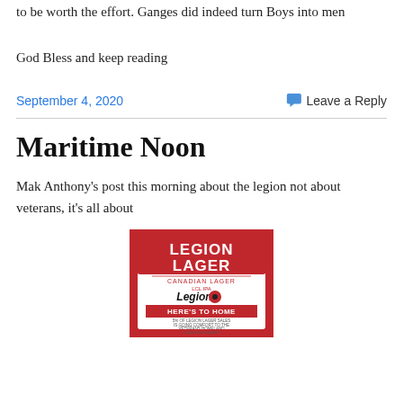to be worth the effort. Ganges did indeed turn Boys into men
God Bless and keep reading
September 4, 2020
Leave a Reply
Maritime Noon
Mak Anthony's post this morning about the legion not about veterans, it's all about
[Figure (photo): Legion Lager beer advertisement with red and white design showing 'LEGION LAGER - CANADIAN LAGER - LCL IPA - Legion - HERE'S TO HOME - 5% OF LEGION LAGER SALES IS GOING COMFORT TO VETERANS HOMELAND ACROSS CANADA']